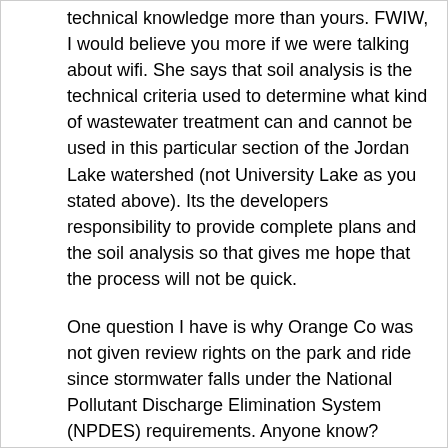technical knowledge more than yours. FWIW, I would believe you more if we were talking about wifi. She says that soil analysis is the technical criteria used to determine what kind of wastewater treatment can and cannot be used in this particular section of the Jordan Lake watershed (not University Lake as you stated above). Its the developers responsibility to provide complete plans and the soil analysis so that gives me hope that the process will not be quick.
One question I have is why Orange Co was not given review rights on the park and ride since stormwater falls under the National Pollutant Discharge Elimination System (NPDES) requirements. Anyone know?
The point I think should concern Orange and Chatham county residents is how many of these individual wastewater treatment areas are being developed in the absence of any county-owned system. Maintenance of Individual treatment areas fall to property owners/neighborhood associations after the developer signs off on the property. If they don't follow the maintenance and repair requirements, a huge environmental disaster could result. Eventually with all of the individual systems being built,